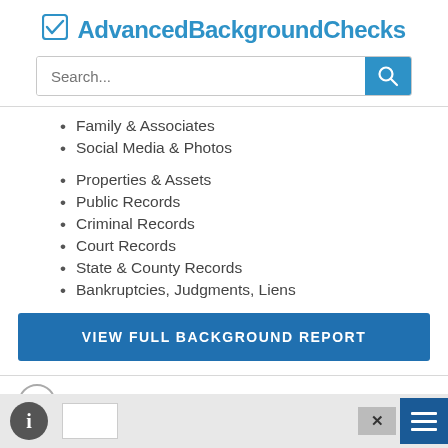AdvancedBackgroundChecks
[Figure (screenshot): Search bar with teal search button]
Family & Associates
Social Media & Photos
Properties & Assets
Public Records
Criminal Records
Court Records
State & County Records
Bankruptcies, Judgments, Liens
VIEW FULL BACKGROUND REPORT
Email Addresses
bottom toolbar with info, close, and menu buttons